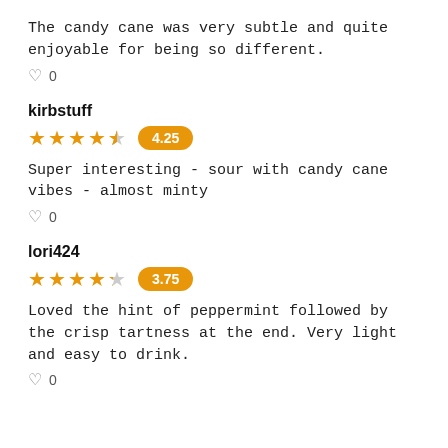The candy cane was very subtle and quite enjoyable for being so different.
♡ 0
kirbstuff
[Figure (other): 4.25 star rating with orange badge showing 4.25]
Super interesting - sour with candy cane vibes - almost minty
♡ 0
lori424
[Figure (other): 3.75 star rating with orange badge showing 3.75]
Loved the hint of peppermint followed by the crisp tartness at the end. Very light and easy to drink.
♡ 0